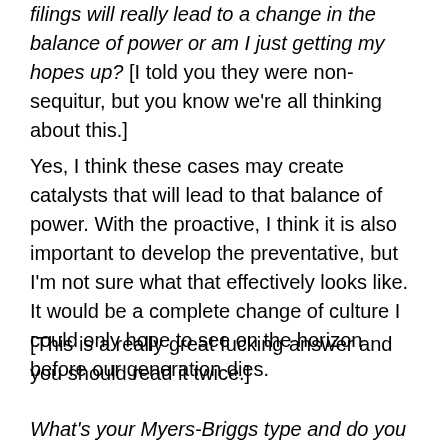filings will really lead to a change in the balance of power or am I just getting my hopes up? [I told you they were non-sequitur, but you know we're all thinking about this.]
Yes, I think these cases may create catalysts that will lead to that balance of power. With the proactive, I think it is also important to develop the preventative, but I'm not sure what that effectively looks like. It would be a complete change of culture I could only hope to see on the horizon before our generation dies.
[This is a really great fucking answer and you should read it twice.]
What's your Myers-Briggs type and do you agree